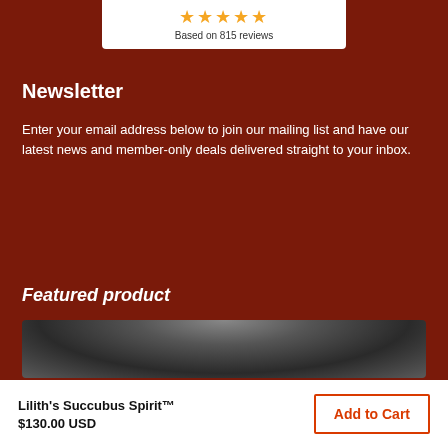[Figure (other): Review card with 5 gold stars and text 'Based on 815 reviews']
Newsletter
Enter your email address below to join our mailing list and have our latest news and member-only deals delivered straight to your inbox.
[Figure (other): Email input field with orange submit button and social media icons panel showing Facebook and Instagram icons]
Featured product
[Figure (photo): Grayscale photo showing a dark silhouetted figure from behind]
Lilith's Succubus Spirit™
$130.00 USD
Add to Cart